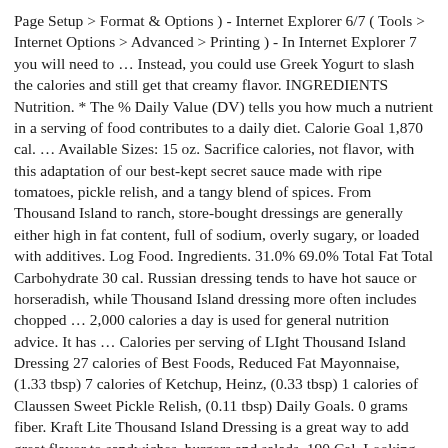Page Setup > Format & Options ) - Internet Explorer 6/7 ( Tools > Internet Options > Advanced > Printing ) - In Internet Explorer 7 you will need to … Instead, you could use Greek Yogurt to slash the calories and still get that creamy flavor. INGREDIENTS Nutrition. * The % Daily Value (DV) tells you how much a nutrient in a serving of food contributes to a daily diet. Calorie Goal 1,870 cal. … Available Sizes: 15 oz. Sacrifice calories, not flavor, with this adaptation of our best-kept secret sauce made with ripe tomatoes, pickle relish, and a tangy blend of spices. From Thousand Island to ranch, store-bought dressings are generally either high in fat content, full of sodium, overly sugary, or loaded with additives. Log Food. Ingredients. 31.0% 69.0% Total Fat Total Carbohydrate 30 cal. Russian dressing tends to have hot sauce or horseradish, while Thousand Island dressing more often includes chopped … 2,000 calories a day is used for general nutrition advice. It has … Calories per serving of LIght Thousand Island Dressing 27 calories of Best Foods, Reduced Fat Mayonnaise, (1.33 tbsp) 7 calories of Ketchup, Heinz, (0.33 tbsp) 1 calories of Claussen Sweet Pickle Relish, (0.11 tbsp) Daily Goals. 0 grams fiber. Kraft Lite Thousand Island Dressing is a great way to add great flavor to sandwiches, burgers and salads. 190 Cal. Looking for Something Else? … Amount of sugar in Light Thousand Island Dressing: How much fiber is in Light Thousand Island Dressing? 2 1⁄2. lbs ground turkey breast or 2 1⁄2 lbs ground chicken breast. … cup light thousand island dressing